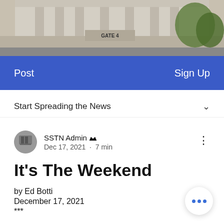[Figure (photo): Top portion of a large building exterior, likely Yankee Stadium, with columns and Gate 4 signage, trees visible]
Post    Sign Up
Start Spreading the News
SSTN Admin [crown icon] Dec 17, 2021 · 7 min
It's The Weekend
by Ed Botti
December 17, 2021
***
Well, somehow we made it through another week of Baseball being in witness protection program. Oddly